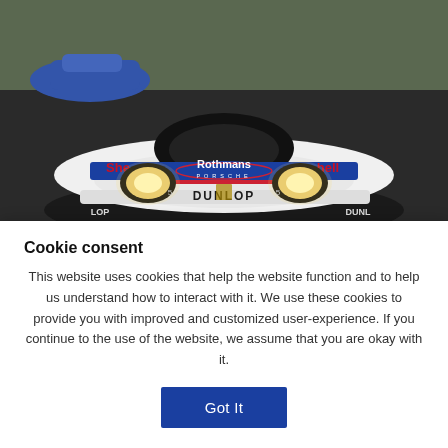[Figure (photo): Rothmans Porsche racing car with Dunlop branding on a race track, headlights on, front-facing view. Blue car visible in background.]
NEWS | 19 Aug 2022
Book Launch - Ultimate Works
Cookie consent
This website uses cookies that help the website function and to help us understand how to interact with it. We use these cookies to provide you with improved and customized user-experience. If you continue to the use of the website, we assume that you are okay with it.
Got It